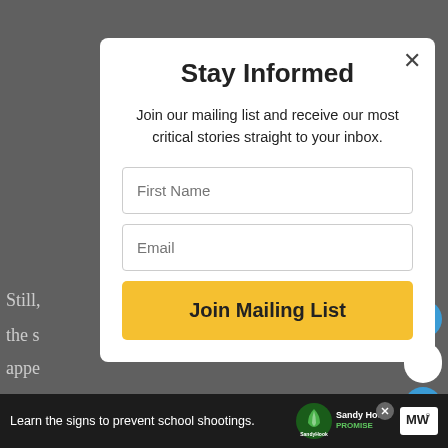[Figure (screenshot): Website modal popup overlay on a gray background. The modal is titled 'Stay Informed' and contains a description, first name input, email input, and a 'Join Mailing List' button. Background article text is partially visible. Right side has heart, comment count, and share icons. Bottom has an ad bar for Sandy Hook Promise.]
Stay Informed
Join our mailing list and receive our most critical stories straight to your inbox.
First Name
Email
Join Mailing List
Still, ...d in the s... appe...
I Hav... occu... . In
WHAT'S NEXT → Power Your Mind With...
Learn the signs to prevent school shootings.